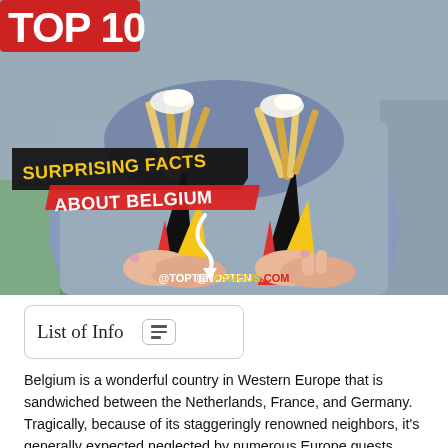[Figure (photo): A person holding two Belgian flag-colored cone-shaped containers filled with Belgian fries topped with sauce/mayonnaise. The image has a 'TOP 10' badge in the top left corner, an overlay text banner reading 'SURPRISING FACTS ABOUT BELGIUM' with a black and red design, and a watermark '@TOPTENFAMOUS.COM' at the bottom.]
List of Info
Belgium is a wonderful country in Western Europe that is sandwiched between the Netherlands, France, and Germany. Tragically, because of its staggeringly renowned neighbors, it's generally expected neglected by numerous Europe guests. Nonetheless, you'll find an entire mother lode of fascinating attractions would it be